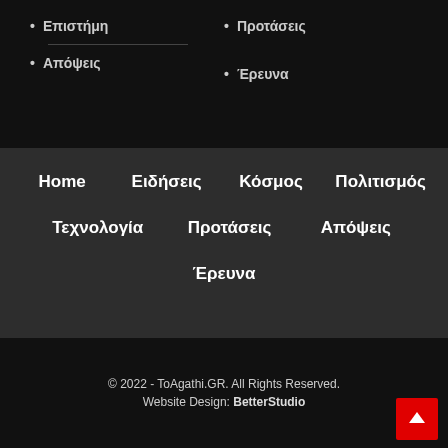Επιστήμη
Προτάσεις
Απόψεις
Έρευνα
Home
Ειδήσεις
Κόσμος
Πολιτισμός
Τεχνολογία
Προτάσεις
Απόψεις
Έρευνα
© 2022 - ToAgathi.GR. All Rights Reserved.
Website Design: BetterStudio